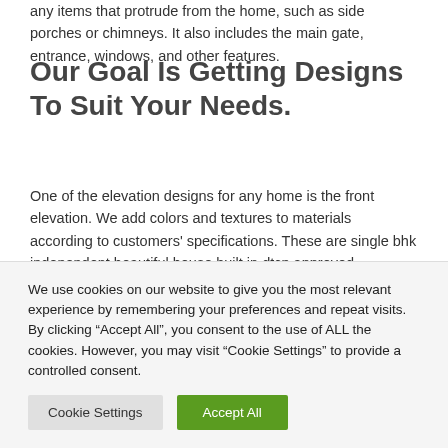any items that protrude from the home, such as side porches or chimneys. It also includes the main gate, entrance, windows, and other features.
Our Goal Is Getting Designs To Suit Your Needs.
One of the elevation designs for any home is the front elevation. We add colors and textures to materials according to customers' specifications. These are single bhk independent beautiful house built in dtcp approved residential plots in kumba
We use cookies on our website to give you the most relevant experience by remembering your preferences and repeat visits. By clicking “Accept All”, you consent to the use of ALL the cookies. However, you may visit “Cookie Settings” to provide a controlled consent.